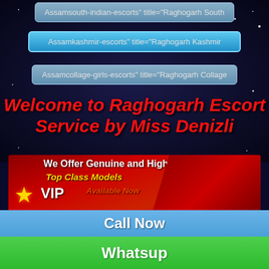Assamsouth-indian-escorts" title="Raghogarh South
Assamkashmir-escorts" title="Raghogarh Kashmir
Assamcollage-girls-escorts" title="Raghogarh Collage
Welcome to Raghogarh Escort Service by Miss Denizli
[Figure (photo): Promotional banner showing a woman in red dress lying down, with text overlays: 'We Offer Genuine and High Profile Girls', 'Top Class Models', star VIP logo, 'Available Now', and VIP badge with stars]
Call Now
Whatsup